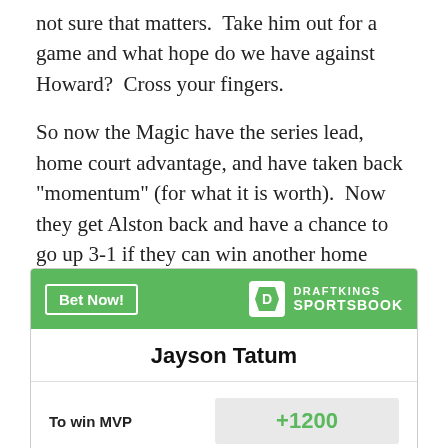not sure that matters.  Take him out for a game and what hope do we have against Howard?  Cross your fingers.
So now the Magic have the series lead, home court advantage, and have taken back "momentum" (for what it is worth).  Now they get Alston back and have a chance to go up 3-1 if they can win another home game.
[Figure (other): DraftKings Sportsbook betting widget showing Jayson Tatum To win MVP odds of +1200]